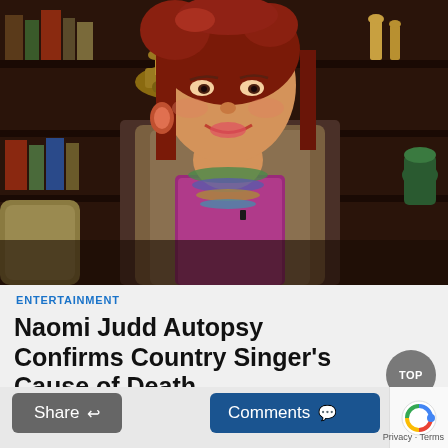[Figure (photo): A woman with long red hair, wearing a fur vest over a purple top with colorful beaded necklaces, smiling and seated in front of a dark wood bookshelf with books and decorative objects.]
ENTERTAINMENT
Naomi Judd Autopsy Confirms Country Singer's Cause of Death
Share
Comments
TOP
Privacy · Terms